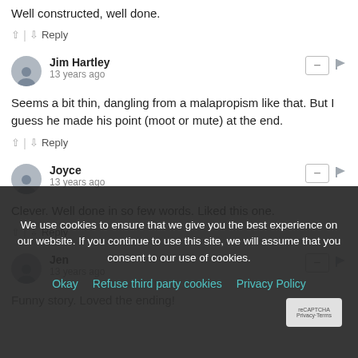Well constructed, well done.
^ | v Reply
Jim Hartley
13 years ago
Seems a bit thin, dangling from a malapropism like that. But I guess he made his point (moot or mute) at the end.
^ | v Reply
Joyce
13 years ago
Clever. Well done in so few words. Liked this one.
^ | v Reply
Jen
13 years ago
Funny story. Loved the ending!
Sharon
13 years ago
It seemed the punchline was given away too soon by the title
We use cookies to ensure that we give you the best experience on our website. If you continue to use this site, we will assume that you consent to our use of cookies.
Okay  Refuse third party cookies  Privacy Policy